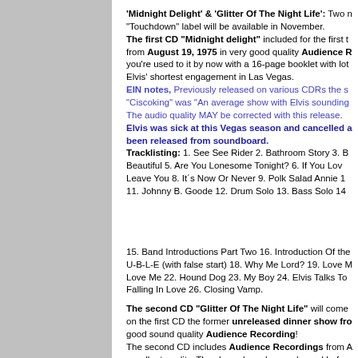'Midnight Delight' & 'Glitter Of The Night Life': Two new releases on the "Touchdown" label will be available in November. The first CD "Midnight delight" included for the first time from August 19, 1975 in very good quality Audience Recording you're used to it by now with a 16-page booklet with lots of photos. Elvis' shortest engagement in Las Vegas. EIN notes, Previously released on various CDRs the show by "Ciscoking" was "An average show with Elvis sounding... The audio quality MAY be corrected with this release. Elvis was sick at this Vegas season and cancelled a... been released from soundboard. Tracklisting: 1. See See Rider 2. Bathroom Story 3. B... Beautiful 5. Are You Lonesome Tonight? 6. If You Lo... Leave You 8. It´s Now Or Never 9. Polk Salad Annie 1... 11. Johnny B. Goode 12. Drum Solo 13. Bass Solo 14...
15. Band Introductions Part Two 16. Introduction Of the... U-B-L-E (with false start) 18. Why Me Lord? 19. Love M... Love Me 22. Hound Dog 23. My Boy 24. Elvis Talks To... Falling In Love 26. Closing Vamp.
The second CD "Glitter Of The Night Life" will come... on the first CD the former unreleased dinner show fro... good sound quality Audience Recording! The second CD includes Audience Recordings from A... excellent quality. The shows have been released before... a much inferior sound than you can hear them now. EIN Note - previous releases have all had speeded up...